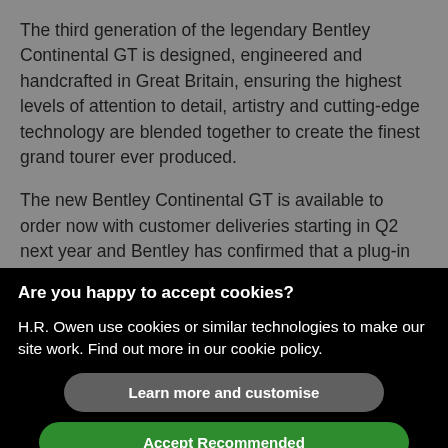The third generation of the legendary Bentley Continental GT is designed, engineered and handcrafted in Great Britain, ensuring the highest levels of attention to detail, artistry and cutting-edge technology are blended together to create the finest grand tourer ever produced.
The new Bentley Continental GT is available to order now with customer deliveries starting in Q2 next year and Bentley has confirmed that a plug-in hybrid model will be available in the future.
Are you happy to accept cookies?
H.R. Owen use cookies or similar technologies to make our site work. Find out more in our cookie policy.
Learn more and customise
Accept Recommended